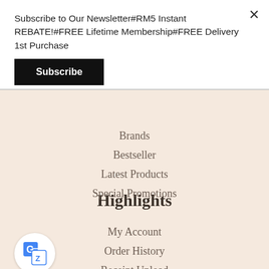Subscribe to Our Newsletter#RM5 Instant REBATE!#FREE Lifetime Membership#FREE Delivery 1st Purchase
Subscribe
Highlights
Brands
Bestseller
Latest Products
Special Promotions
My Account
My Account
Order History
Receipt Upload
Wish List
[Figure (logo): Google Translate icon — blue square with 'G' and translation symbol]
[Figure (logo): WhatsApp icon — white speech bubble with phone on green circle background]